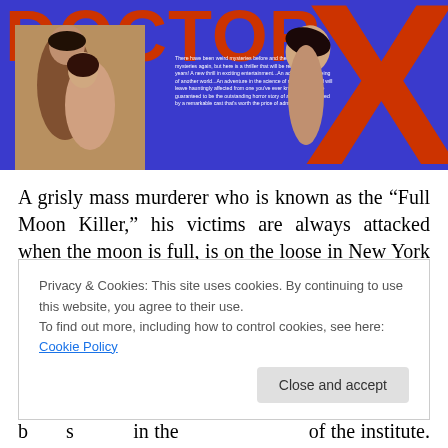[Figure (photo): Movie poster for 'Doctor X' showing large red letters 'DOCTOR X' with a large red X on the right, a couple embracing on the left, a woman reclining on the right, and a blue background with promotional text in the center.]
A grisly mass murderer who is known as the “Full Moon Killer,” his victims are always attacked when the moon is full, is on the loose in New York City. The only clue the police have is that the killer must have a medical
Privacy & Cookies: This site uses cookies. By continuing to use this website, you agree to their use.
To find out more, including how to control cookies, see here: Cookie Policy
Close and accept
b...............................................s. The